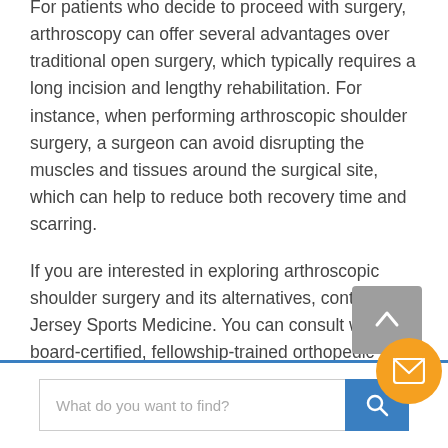For patients who decide to proceed with surgery, arthroscopy can offer several advantages over traditional open surgery, which typically requires a long incision and lengthy rehabilitation. For instance, when performing arthroscopic shoulder surgery, a surgeon can avoid disrupting the muscles and tissues around the surgical site, which can help to reduce both recovery time and scarring.
If you are interested in exploring arthroscopic shoulder surgery and its alternatives, contact New Jersey Sports Medicine. You can consult with our board-certified, fellowship-trained orthopedic surgeons at our sports medicine center near Monroe Township, NJ.
[Figure (screenshot): Search bar widget with text input placeholder 'What do you want to find?' and a blue search button with magnifying glass icon. A scroll-to-top button (grey with up arrow) and an orange circular mail/envelope button are also visible.]